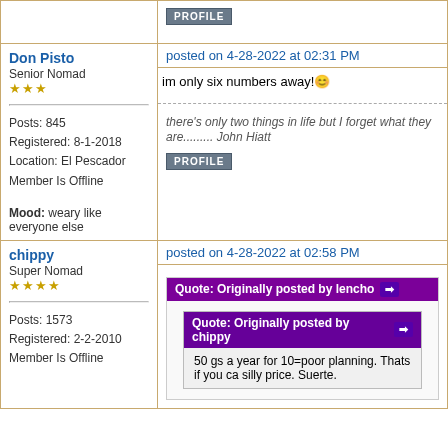PROFILE
Don Pisto
Senior Nomad
★★★
posted on 4-28-2022 at 02:31 PM
Posts: 845
Registered: 8-1-2018
Location: El Pescador
Member Is Offline
Mood: weary like everyone else
im only six numbers away! 😊
there's only two things in life but I forget what they are......... John Hiatt
PROFILE
chippy
Super Nomad
★★★★
posted on 4-28-2022 at 02:58 PM
Posts: 1573
Registered: 2-2-2010
Member Is Offline
Quote: Originally posted by lencho
Quote: Originally posted by chippy
50 gs a year for 10=poor planning. Thats if you ca silly price. Suerte.